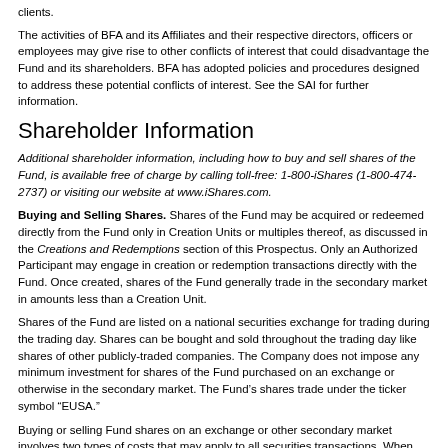clients.
The activities of BFA and its Affiliates and their respective directors, officers or employees may give rise to other conflicts of interest that could disadvantage the Fund and its shareholders. BFA has adopted policies and procedures designed to address these potential conflicts of interest. See the SAI for further information.
Shareholder Information
Additional shareholder information, including how to buy and sell shares of the Fund, is available free of charge by calling toll-free: 1-800-iShares (1-800-474-2737) or visiting our website at www.iShares.com.
Buying and Selling Shares. Shares of the Fund may be acquired or redeemed directly from the Fund only in Creation Units or multiples thereof, as discussed in the Creations and Redemptions section of this Prospectus. Only an Authorized Participant may engage in creation or redemption transactions directly with the Fund. Once created, shares of the Fund generally trade in the secondary market in amounts less than a Creation Unit.
Shares of the Fund are listed on a national securities exchange for trading during the trading day. Shares can be bought and sold throughout the trading day like shares of other publicly-traded companies. The Company does not impose any minimum investment for shares of the Fund purchased on an exchange or otherwise in the secondary market. The Fund’s shares trade under the ticker symbol “EUSA.”
Buying or selling Fund shares on an exchange or other secondary market involves two types of costs that may apply to all securities transactions. When buying or selling shares of the Fund through a broker, you may incur a brokerage commission and other charges. The commission is frequently a fixed amount and